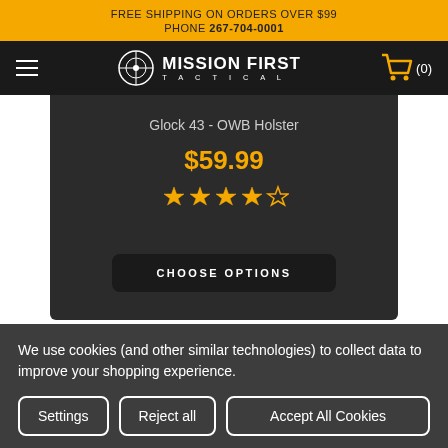FREE SHIPPING ON ORDERS OVER $99
PHONE 267-704-0001
[Figure (logo): Mission First Tactical logo with hamburger menu and cart icon (0) on dark navigation bar]
Glock 43 - OWB Holster
$59.99
[Figure (other): Five star rating icons in gold/amber color]
CHOOSE OPTIONS
We use cookies (and other similar technologies) to collect data to improve your shopping experience.
Settings  Reject all  Accept All Cookies